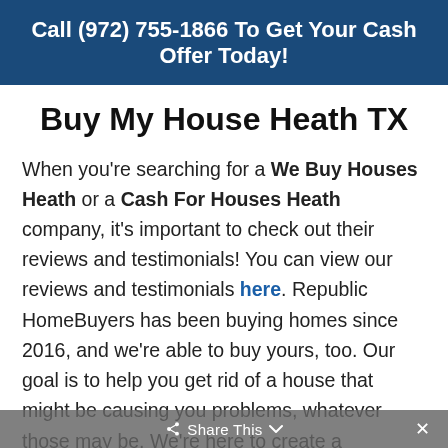Call (972) 755-1866 To Get Your Cash Offer Today!
Buy My House Heath TX
When you're searching for a We Buy Houses Heath or a Cash For Houses Heath company, it's important to check out their reviews and testimonials! You can view our reviews and testimonials here. Republic HomeBuyers has been buying homes since 2016, and we're able to buy yours, too. Our goal is to help you get rid of a house that might be causing you problems, whatever those may be. We're here to create a personal, customized game plan
Share This  ×